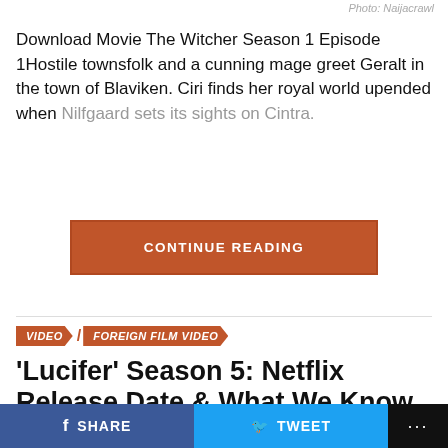Photo: Naijacrawl
Download Movie The Witcher Season 1 Episode 1Hostile townsfolk and a cunning mage greet Geralt in the town of Blaviken. Ciri finds her royal world upended when Nilfgaard sets its sights on Cintra.
CONTINUE READING
VIDEO   FOREIGN FILM VIDEO
'Lucifer' Season 5: Netflix Release Date & What We Know So Far
Published 2 years ago on March 09, 2020
SHARE   TWEET   ...